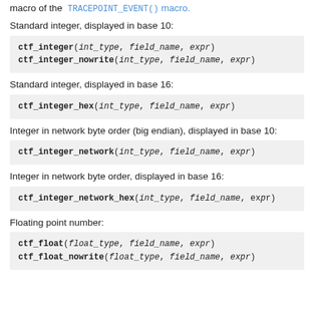macro of the TRACEPOINT_EVENT() macro.
Standard integer, displayed in base 10:
ctf_integer(int_type, field_name, expr)
ctf_integer_nowrite(int_type, field_name, expr)
Standard integer, displayed in base 16:
ctf_integer_hex(int_type, field_name, expr)
Integer in network byte order (big endian), displayed in base 10:
ctf_integer_network(int_type, field_name, expr)
Integer in network byte order, displayed in base 16:
ctf_integer_network_hex(int_type, field_name, expr)
Floating point number:
ctf_float(float_type, field_name, expr)
ctf_float_nowrite(float_type, field_name, expr)